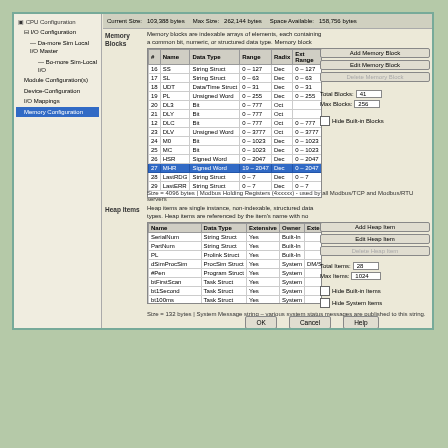[Figure (screenshot): Windows configuration dialog showing Memory Configuration with a left tree panel (CPU Configuration, I/O Configuration, etc.) and main panel with Memory Blocks table and Heap Items table. Memory Blocks table lists items like SS, SL, UDT, PL, DL3, DLY, DLC, DLV, M0, MC, HSR, MHR (selected/highlighted), LastRDG, LastERR with columns #, Name, Data Type, Range, Radix, Ext Range, Owner. Heap Items table lists SerialNum, PartNum, PL, dSimProcSim, #Pen, btFirstScan, bt1Second, bt100ms, btIdles, btSapOffScan, btBarItemOffScan, MyLoop, Daily_Logger, Minute_Logger with columns Name, Data Type, Extensive, Owner, Extended Info. Side buttons: Add Memory Block, Edit Memory Block, Delete Memory Block, Total Blocks 41, Max Blocks 256, Hide Built-in Blocks. Heap side buttons: Add Heap Item, Edit Heap Item, Delete Heap Item, Total Items 28, Max Items 1024, Hide Built-in Items, Hide System Items. Bottom buttons: OK, Cancel, Help.]